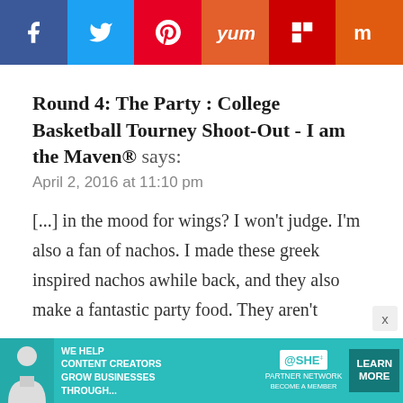[Figure (infographic): Social media share buttons bar: Facebook (dark blue), Twitter (light blue), Pinterest (red), Yummly (orange-red), Flipboard (dark red), Mix (orange)]
Round 4: The Party : College Basketball Tourney Shoot-Out - I am the Maven® says:
April 2, 2016 at 11:10 pm
[...] in the mood for wings? I won't judge. I'm also a fan of nachos. I made these greek inspired nachos awhile back, and they also make a fantastic party food. They aren't
[Figure (infographic): Advertisement banner for SHE Media Partner Network: 'We help content creators grow businesses through...' with a Learn More button]